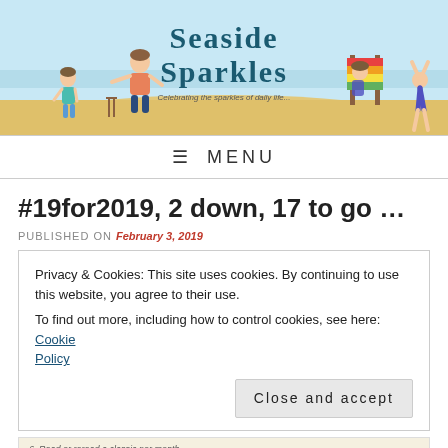[Figure (illustration): Blog header banner for 'Seaside Sparkles' blog showing beach illustration with children playing cricket, a girl reading by a colorful beach chair, sandy beach background, with stylized text 'Seaside Sparkles' and tagline 'Celebrating the sparkles of daily life']
≡ MENU
#19for2019, 2 down, 17 to go …
PUBLISHED ON February 3, 2019
Privacy & Cookies: This site uses cookies. By continuing to use this website, you agree to their use.
To find out more, including how to control cookies, see here: Cookie Policy
Close and accept
[Figure (photo): Partial view of a handwritten list, showing text 'Read or reread a classic per month' and partially visible next item]